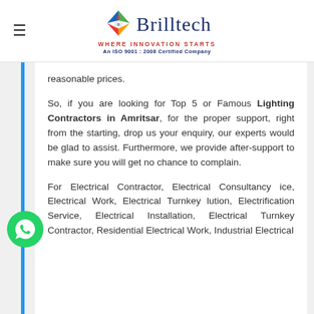[Figure (logo): Brilltech logo with star/compass emblem, tagline 'WHERE INNOVATION STARTS', and 'An ISO 9001 : 2008 Certified Company']
reasonable prices.
So, if you are looking for Top 5 or Famous Lighting Contractors in Amritsar, for the proper support, right from the starting, drop us your enquiry, our experts would be glad to assist. Furthermore, we provide after-support to make sure you will get no chance to complain.
For Electrical Contractor, Electrical Consultancy ice, Electrical Work, Electrical Turnkey lution, Electrification Service, Electrical Installation, Electrical Turnkey Contractor, Residential Electrical Work, Industrial Electrical